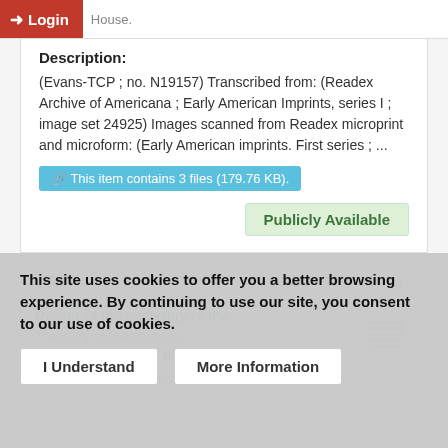States. Congress (2nd, 1st session : 1791-1792). House.
Description:
(Evans-TCP ; no. N19157) Transcribed from: (Readex Archive of Americana ; Early American Imprints, series I ; image set 24925) Images scanned from Readex microprint and microform: (Early American imprints. First series ; ...
This item contains 3 files (179.76 KB).
Publicly Available
Text	Evans-TCP (Phase 1)
Report of the secretary of the Treasury respecting the ... reimbursement of the loan made ... published by order of the House of
This site uses cookies to offer you a better browsing experience. By continuing to use our site, you consent to our use of cookies.
I Understand
More Information